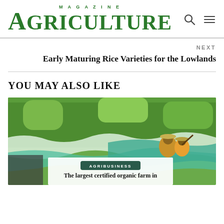MAGAZINE AGRICULTURE
NEXT
Early Maturing Rice Varieties for the Lowlands
YOU MAY ALSO LIKE
[Figure (photo): Farm workers in a green rice field laying and handling white and teal mesh netting over crops, wearing hats and colorful clothing.]
AGRIBUSINESS
The largest certified organic farm in